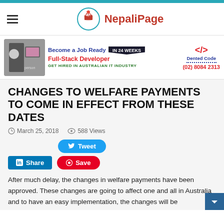[Figure (logo): NepaliPage website logo with circular emblem and red text]
[Figure (photo): Advertisement banner for Dented Code Full-Stack Developer course - Become a Job Ready Full-Stack Developer in 24 weeks, GET HIRED IN AUSTRALIAN IT INDUSTRY, (02) 8084 2313]
CHANGES TO WELFARE PAYMENTS TO COME IN EFFECT FROM THESE DATES
March 25, 2018   588 Views
After much delay, the changes in welfare payments have been approved. These changes are going to affect one and all in Australia and to have an easy implementation, the changes will be